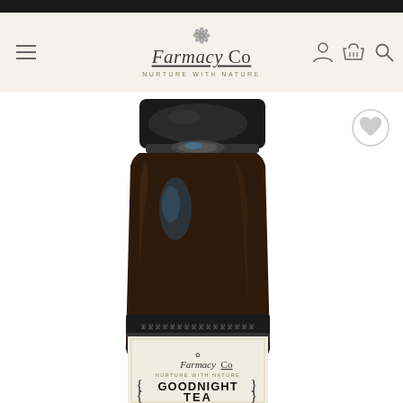[Figure (screenshot): E-commerce product page for Farmacy Co showing a dark amber jar labeled 'GOODNIGHT TEA — Sleep, Stress & Nourish' by Farmacy Co, Nurture with Nature. The page has a navigation header with hamburger menu, Farmacy Co logo, and icons for account, cart, and search. A wishlist heart button appears in the product image area.]